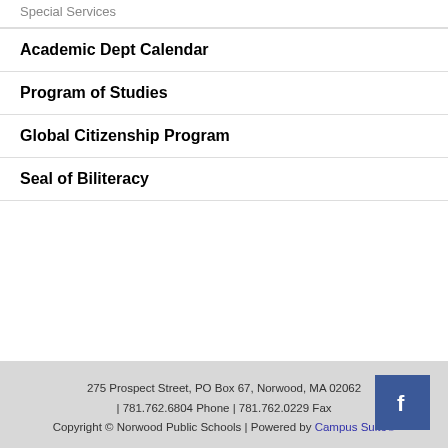Special Services
Academic Dept Calendar
Program of Studies
Global Citizenship Program
Seal of Biliteracy
275 Prospect Street, PO Box 67, Norwood, MA 02062 | 781.762.6804 Phone | 781.762.0229 Fax Copyright © Norwood Public Schools | Powered by Campus Suite®